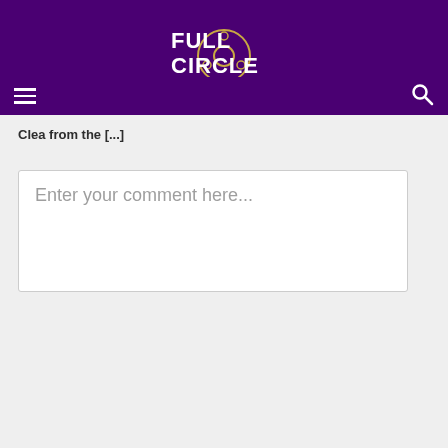FULL CIRCLE
Clea from the [...]
Enter your comment here...